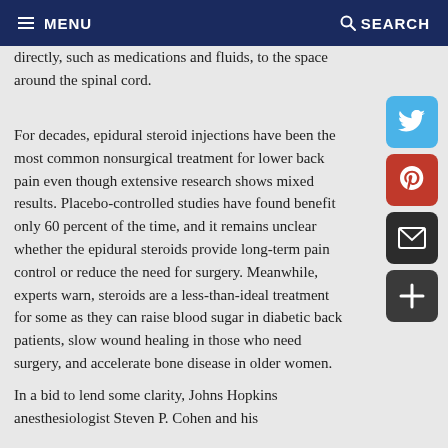MENU  SEARCH
directly, such as medications and fluids, to the space around the spinal cord.
For decades, epidural steroid injections have been the most common nonsurgical treatment for lower back pain even though extensive research shows mixed results. Placebo-controlled studies have found benefit only 60 percent of the time, and it remains unclear whether the epidural steroids provide long-term pain control or reduce the need for surgery. Meanwhile, experts warn, steroids are a less-than-ideal treatment for some as they can raise blood sugar in diabetic back patients, slow wound healing in those who need surgery, and accelerate bone disease in older women.
In a bid to lend some clarity, Johns Hopkins anesthesiologist Steven P. Cohen and his